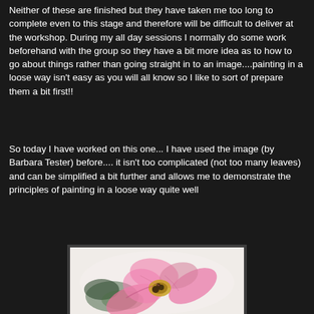Neither of these are finished but they have taken me too long to complete even to this stage and therefore will be difficult to deliver at the workshop. During my all day sessions I normally do some work beforehand with the group so they have a bit more idea as to how to go about things rather than going straight in to an image....painting in a loose way isn't easy as you will all know so I like to sort of prepare them a bit first!!
So today I have worked on this one... I have used the image (by Barbara Tester) before.... it isn't too complicated (not too many leaves) and can be simplified a bit further and allows me to demonstrate the principles of painting in a loose way quite well
[Figure (photo): A watercolour painting of a pink flower with green foliage, painted in a loose style on white paper, partially visible.]